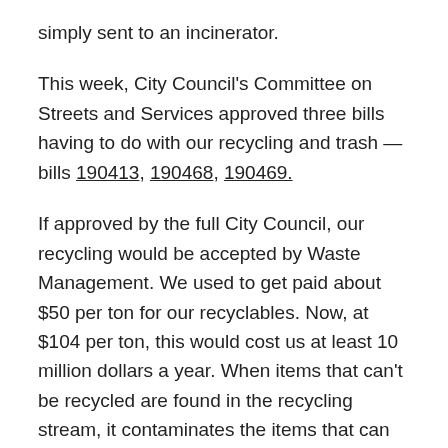simply sent to an incinerator.
This week, City Council's Committee on Streets and Services approved three bills having to do with our recycling and trash — bills 190413, 190468, 190469.
If approved by the full City Council, our recycling would be accepted by Waste Management. We used to get paid about $50 per ton for our recyclables. Now, at $104 per ton, this would cost us at least 10 million dollars a year. When items that can't be recycled are found in the recycling stream, it contaminates the items that can be recycled, and so they can't be recycled…
What type of items in your recycling bin cause contamination?
Though plastic containers numbered 1 thru 5 are